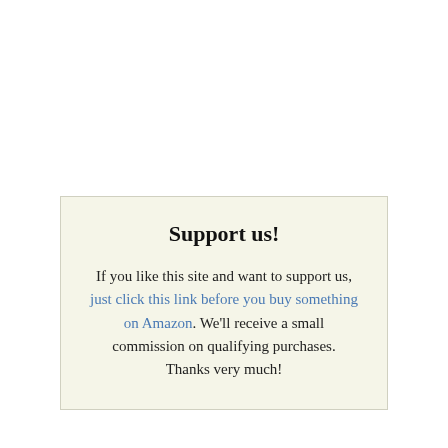Support us!
If you like this site and want to support us, just click this link before you buy something on Amazon. We'll receive a small commission on qualifying purchases. Thanks very much!